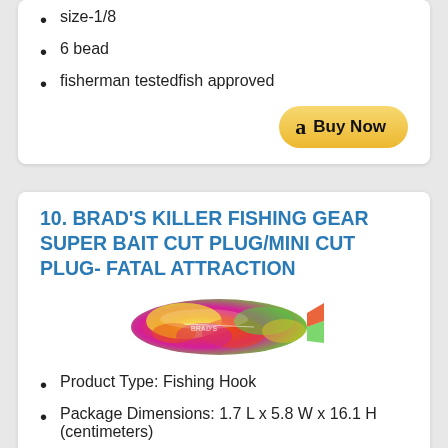size-1/8
6 bead
fisherman testedfish approved
[Figure (other): Amazon Buy Now button with orange/yellow gradient and Amazon logo 'a']
10. BRAD'S KILLER FISHING GEAR SUPER BAIT CUT PLUG/MINI CUT PLUG- FATAL ATTRACTION
[Figure (photo): Colorful fishing lure in psychedelic pink, yellow, green, and red pattern, elongated teardrop shape]
Product Type: Fishing Hook
Package Dimensions: 1.7 L x 5.8 W x 16.1 H (centimeters)
Country of Origin: China